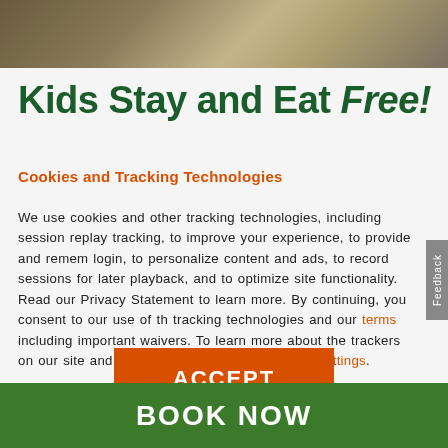[Figure (photo): Background photo at top of page, appearing to show an interior or landscape scene with warm brown/tan tones]
Kids Stay and Eat Free!
Cookies and Tracking Technologies
We use cookies and other tracking technologies, including session replay tracking, to improve your experience, to provide and remember login, to personalize content and ads, to record sessions for later playback, and to optimize site functionality. Read our Privacy Statement to learn more. By continuing, you consent to our use of these tracking technologies and our terms including important waivers. To learn more about the trackers on our site and change your preferences, View Settings.
ACCEPT
BOOK NOW